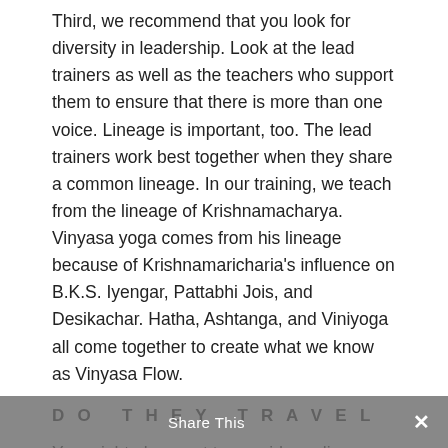Third, we recommend that you look for diversity in leadership. Look at the lead trainers as well as the teachers who support them to ensure that there is more than one voice. Lineage is important, too. The lead trainers work best together when they share a common lineage. In our training, we teach from the lineage of Krishnamacharya. Vinyasa yoga comes from his lineage because of Krishnamaricharia's influence on B.K.S. Iyengar, Pattabhi Jois, and Desikachar. Hatha, Ashtanga, and Viniyoga all come together to create what we know as Vinyasa Flow.
DO THEY TRAVEL
You might also want to consider online training that hosts retreats in your area. We've been hosting retreats Internationally, with 2022